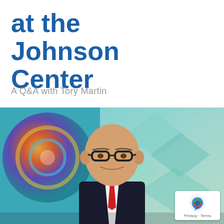at the Johnson Center
A Q&A with Tory Martin
[Figure (photo): Professional headshot of Tory Martin, a middle-aged man with glasses, bald head, wearing a dark suit and red tie, smiling, photographed in front of a colorful art installation and teal geometric background.]